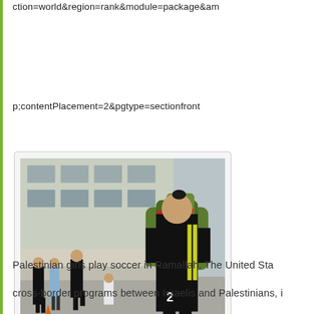ction=world&amp;region=rank&amp;module=package&am
p;contentPlacement=2&amp;pgtype=sectionfront
[Figure (photo): Palestinian girls playing soccer on a street court in Ramallah. A girl in a black jersey with yellow stripes and number 2 is in the foreground. Other girls are visible in the background, with red soccer balls on the court. A building with large windows and plants is visible behind them.]
Palestinian girls play soccer in Ramallah. The United Sta
cross-border programs between Israelis and Palestinians, i